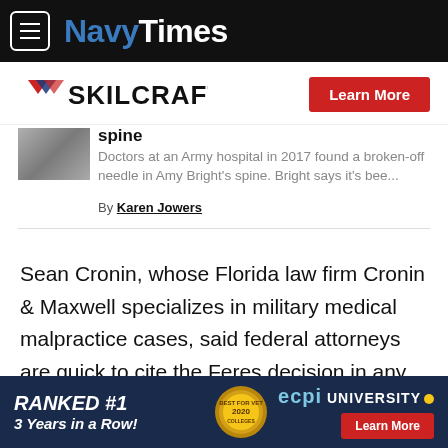NavyTimes
[Figure (logo): SKILCRAFT logo with red/blue chevron and red Learn More button advertisement]
spine
Doctors at an Army hospital in 2017 found a broken-off needle in Amy Bright's spine. Bright says it's bee...
By Karen Jowers
Sean Cronin, whose Florida law firm Cronin & Maxwell specializes in military medical malpractice cases, said federal attorneys are quick to cite the Feres decision in any military litigation, creating a frustrating legal roadblock for a wide variety of lawsuits.
[Figure (infographic): ECPI University advertisement: RANKED #1 3 Years in a Row! with medal badge and Learn More button]